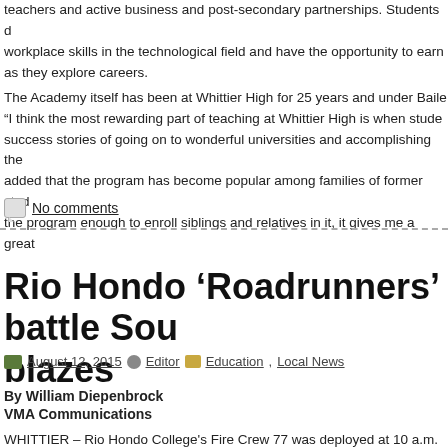teachers and active business and post-secondary partnerships. Students develop workplace skills in the technological field and have the opportunity to earn as they explore careers. The Academy itself has been at Whittier High for 25 years and under Bailey “I think the most rewarding part of teaching at Whittier High is when students success stories of going on to wonderful universities and accomplishing the added that the program has become popular among families of former students the program enough to enroll siblings and relatives in it, it gives me a great
No comments
Rio Hondo ‘Roadrunners’ battle Southern blazes
August 12, 2015  Editor  Education, Local News
By William Diepenbrock
VMA Communications
WHITTIER – Rio Hondo College’s Fire Crew 77 was deployed at 10 a.m. Saturday, Aug. 8, 2015, for the second time this summer to help the U.S.